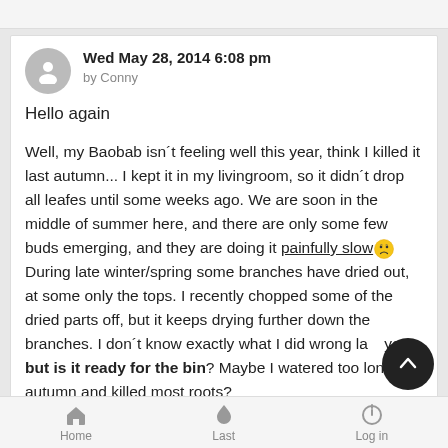Wed May 28, 2014 6:08 pm by Conny
Hello again
Well, my Baobab isn´t feeling well this year, think I killed it last autumn... I kept it in my livingroom, so it didn´t drop all leafes until some weeks ago. We are soon in the middle of summer here, and there are only some few buds emerging, and they are doing it painfully slow 😟 During late winter/spring some branches have dried out, at some only the tops. I recently chopped some of the dried parts off, but it keeps drying further down the branches. I don´t know exactly what I did wrong last year, but is it ready for the bin? Maybe I watered too long last autumn and killed most roots?
Home  Last  Log in